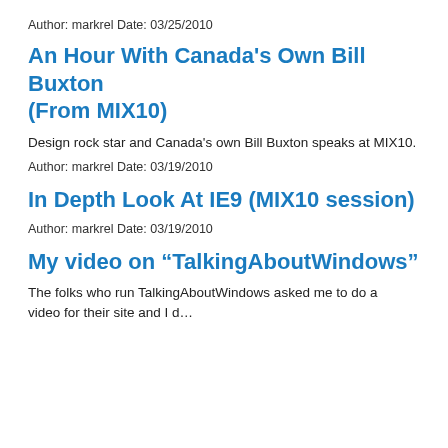Author: markrel Date: 03/25/2010
An Hour With Canada’s Own Bill Buxton (From MIX10)
Design rock star and Canada’s own Bill Buxton speaks at MIX10.
Author: markrel Date: 03/19/2010
In Depth Look At IE9 (MIX10 session)
Author: markrel Date: 03/19/2010
My video on “TalkingAboutWindows”
The folks who run TalkingAboutWindows asked me to do a video for their site and I d...